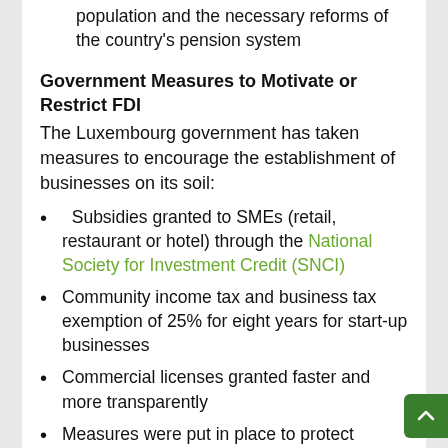population and the necessary reforms of the country's pension system
Government Measures to Motivate or Restrict FDI
The Luxembourg government has taken measures to encourage the establishment of businesses on its soil:
Subsidies granted to SMEs (retail, restaurant or hotel) through the National Society for Investment Credit (SNCI)
Community income tax and business tax exemption of 25% for eight years for start-up businesses
Commercial licenses granted faster and more transparently
Measures were put in place to protect minority investors in order to facilitate their ability to resolve commercial damages in court and to facilitate access to the key information about the companies in which they invest
In general, Luxembourg's tax legislation provides various incentives in the following areas: investment tax credit,